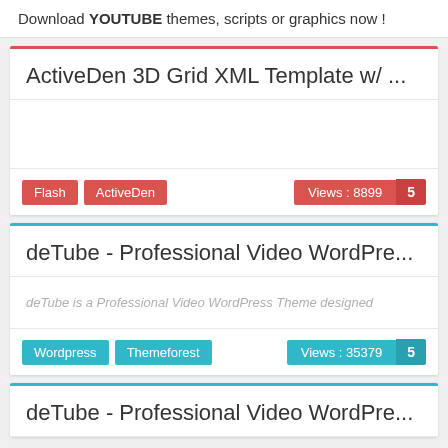Download YOUTUBE themes, scripts or graphics now !
ActiveDen 3D Grid XML Template w/ ...
Flash | ActiveDen | Views : 8899 | 5
deTube - Professional Video WordPre...
deTube is a Professional Video WordPress Theme designed
Wordpress | Themeforest | Views : 35379 | 5
deTube - Professional Video WordPre...